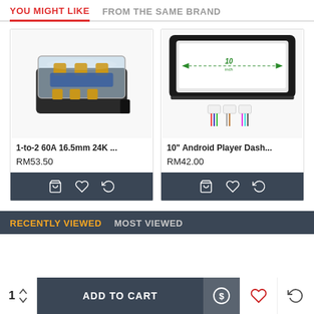YOU MIGHT LIKE | FROM THE SAME BRAND
[Figure (photo): 1-to-2 60A 16.5mm 24K gold-plated fuse holder block with transparent lid]
1-to-2 60A 16.5mm 24K ...
RM53.50
[Figure (photo): 10 inch Android player dash kit with wiring harness]
10" Android Player Dash...
RM42.00
RECENTLY VIEWED
MOST VIEWED
1  ADD TO CART